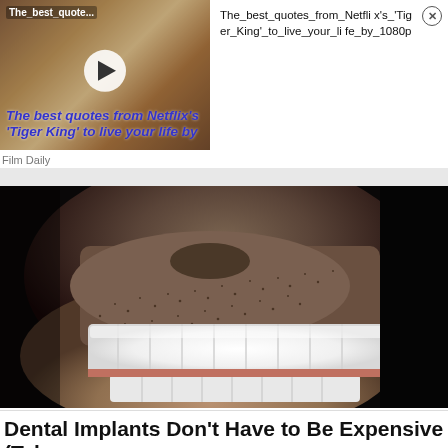[Figure (screenshot): Video thumbnail showing a man in white shirt, with text overlay 'The best quotes from Netflix's Tiger King to live your life by' and a play button. Label at top left reads 'The_best_quote...']
The_best_quotes_from_Netflix's_'Tiger_King'_to_live_your_life_by_1080p
Film Daily
[Figure (photo): Close-up photo of a man's smile showing white dental implants/veneers, with stubble visible.]
Dental Implants Don't Have to Be Expensive (Take